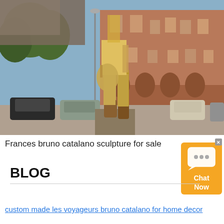[Figure (photo): Outdoor sculpture of a headless female figure in high boots, jeans, and jacket carrying a handbag, displayed on a pedestal in a Parisian square with classic brick buildings and parked cars in the background.]
Frances bruno catalano sculpture for sale
BLOG
custom made les voyageurs bruno catalano for home decor
[Figure (other): Orange chat widget with speech bubble icon and 'Chat Now' text, with an X close button in the top-right corner.]